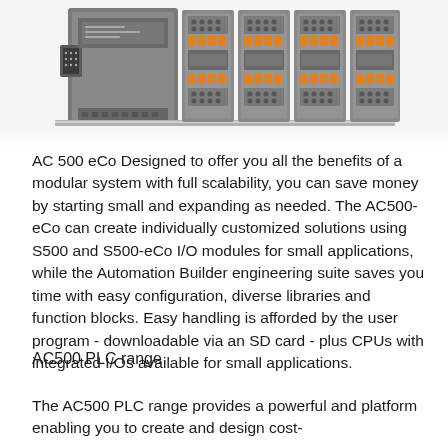[Figure (photo): Photo of ABB AC500-eCo PLC modular hardware — grey DIN-rail mounted CPU unit with DB9 serial port on left, connected to orange-and-grey terminal I/O expansion modules on the right]
AC 500 eCo Designed to offer you all the benefits of a modular system with full scalability, you can save money by starting small and expanding as needed. The AC500-eCo can create individually customized solutions using S500 and S500-eCo I/O modules for small applications, while the Automation Builder engineering suite saves you time with easy configuration, diverse libraries and function blocks. Easy handling is afforded by the user program - downloadable via an SD card - plus CPUs with integrated I/Os available for small applications.
AC500 PLC range
The AC500 PLC range provides a powerful and platform enabling you to create and design cost-